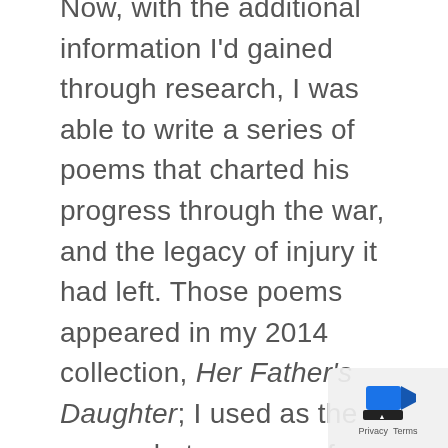Now, with the additional information I'd gained through research, I was able to write a series of poems that charted his progress through the war, and the legacy of injury it had left. Those poems appeared in my 2014 collection, Her Father's Daughter; I used as the cover photo a snap of my grandfather in his Royal Munster Fusilier's uniform. I'd not been aware of the photograph's existence, nor had my mother, but was sent it by a second cousin I uncovered during online research into my grandfather's family. On the night of the launch, I discovered that choice was not entirely uncontroversial. At the end of the evening, an aunt approached me, wondering why I hadn't, instead, used one of the many photographs of Granddad in his Free State Army uniform. The family was not